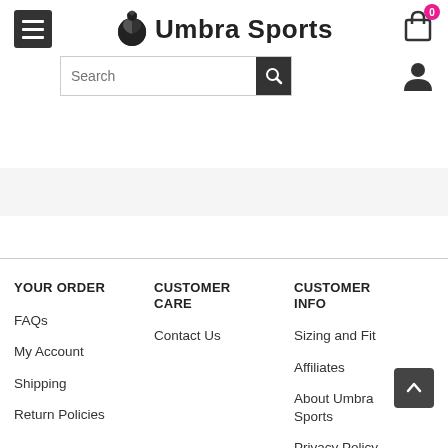Umbra Sports — navigation header with menu, search, cart, and user icons
YOUR ORDER
FAQs
My Account
Shipping
Return Policies
CUSTOMER CARE
Contact Us
CUSTOMER INFO
Sizing and Fit
Affiliates
About Umbra Sports
Privacy Policy
Terms & Conditions